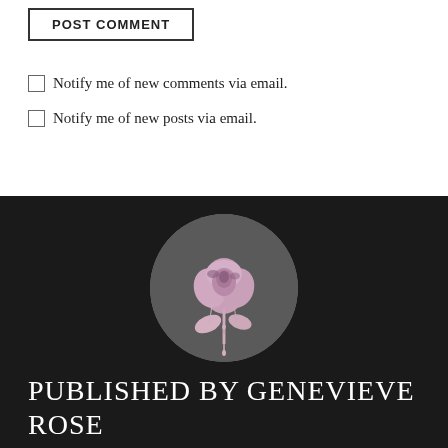POST COMMENT
Notify me of new comments via email.
Notify me of new posts via email.
[Figure (illustration): A circular image on a dark background showing a pink/mauve rose with paint dripping down its stem and petals, set against a grey backdrop.]
PUBLISHED BY GENEVIEVE ROSE